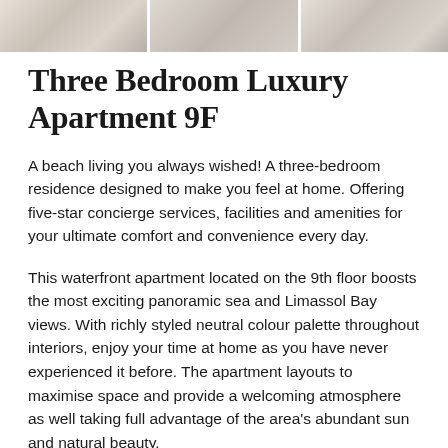[Figure (photo): Three interior apartment photos shown as a horizontal strip at the top of the page, depicting luxury living spaces with neutral colour palettes.]
Three Bedroom Luxury Apartment 9F
A beach living you always wished! A three-bedroom residence designed to make you feel at home. Offering five-star concierge services, facilities and amenities for your ultimate comfort and convenience every day.
This waterfront apartment located on the 9th floor boosts the most exciting panoramic sea and Limassol Bay views. With richly styled neutral colour palette throughout interiors, enjoy your time at home as you have never experienced it before. The apartment layouts to maximise space and provide a welcoming atmosphere as well taking full advantage of the area's abundant sun and natural beauty.
Here at The Tower, you get the best of both worlds –serene resort-style living and easy access to all the sights and life of Limassol. The resident have exclusive facilities to enjoy – whether you are